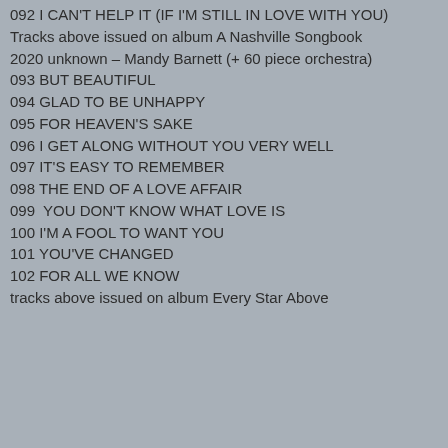092 I CAN'T HELP IT (IF I'M STILL IN LOVE WITH YOU)
Tracks above issued on album A Nashville Songbook
2020 unknown – Mandy Barnett (+ 60 piece orchestra)
093 BUT BEAUTIFUL
094 GLAD TO BE UNHAPPY
095 FOR HEAVEN'S SAKE
096 I GET ALONG WITHOUT YOU VERY WELL
097 IT'S EASY TO REMEMBER
098 THE END OF A LOVE AFFAIR
099  YOU DON'T KNOW WHAT LOVE IS
100 I'M A FOOL TO WANT YOU
101 YOU'VE CHANGED
102 FOR ALL WE KNOW
tracks above issued on album Every Star Above